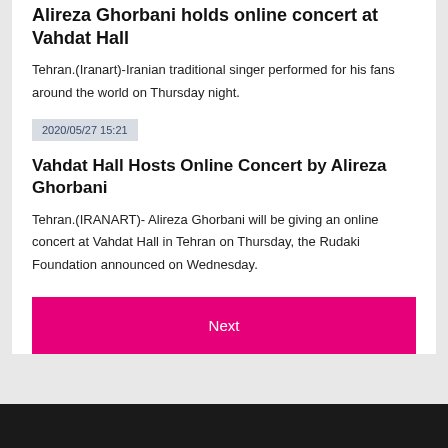Alireza Ghorbani holds online concert at Vahdat Hall
Tehran.(Iranart)-Iranian traditional singer performed for his fans around the world on Thursday night.
2020/05/27 15:21
Vahdat Hall Hosts Online Concert by Alireza Ghorbani
Tehran.(IRANART)- Alireza Ghorbani will be giving an online concert at Vahdat Hall in Tehran on Thursday, the Rudaki Foundation announced on Wednesday.
Next